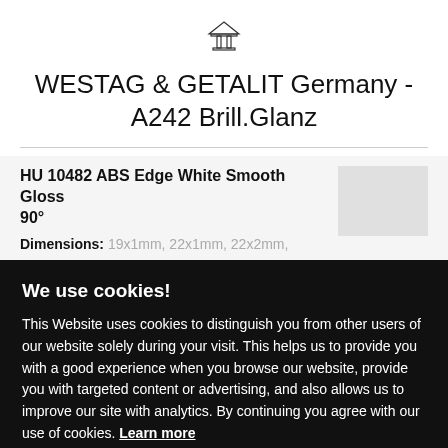WESTAG & GETALIT Germany - A242 Brill.Glanz
HU 10482 ABS Edge White Smooth Gloss 90°
Dimensions: 19x1mm, 22x1mm, 22x2mm,
We use cookies!
This Website uses cookies to distinguish you from other users of our website solely during your visit. This helps us to provide you with a good experience when you browse our website, provide you with targeted content or advertising, and also allows us to improve our site with analytics. By continuing you agree with our use of cookies. Learn more
Necessary only
Accept all